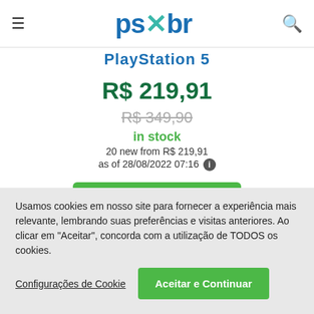ps×br (logo) | hamburger menu | search icon
PlayStation 5
R$ 219,91
R$ 349,90
in stock
20 new from R$ 219,91
as of 28/08/2022 07:16
Compre Agora
Usamos cookies em nosso site para fornecer a experiência mais relevante, lembrando suas preferências e visitas anteriores. Ao clicar em "Aceitar", concorda com a utilização de TODOS os cookies.
Configurações de Cookie
Aceitar e Continuar